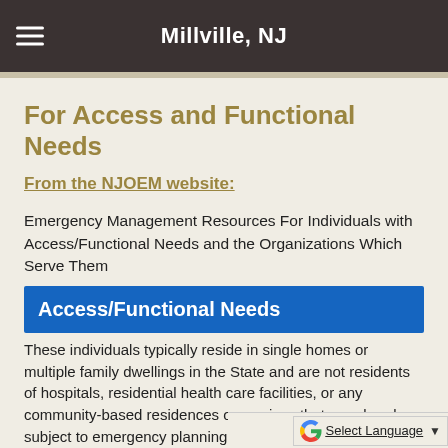Millville, NJ
For Access and Functional Needs
From the NJOEM website:
Emergency Management Resources For Individuals with Access/Functional Needs and the Organizations Which Serve Them
Access/Functional Needs
These individuals typically reside in single homes or multiple family dwellings in the State and are not residents of hospitals, residential health care facilities, or any community-based residences or services that are already subject to emergency planning requirements.If your family member resides in a congregate or institutionalized setting, please consult with agency management regarding their preparedness and disaster plans.Many community members can benefit from specialized preparedness plans and will need additional assistance if there is an em...